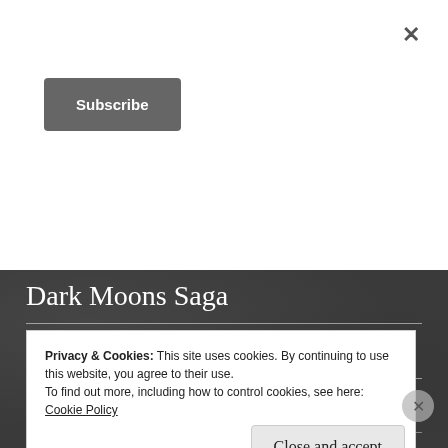×
Subscribe
Dark Moons Saga
Devil's Handmaidens MC
Duet
Privacy & Cookies: This site uses cookies. By continuing to use this website, you agree to their use.
To find out more, including how to control cookies, see here: Cookie Policy
Close and accept